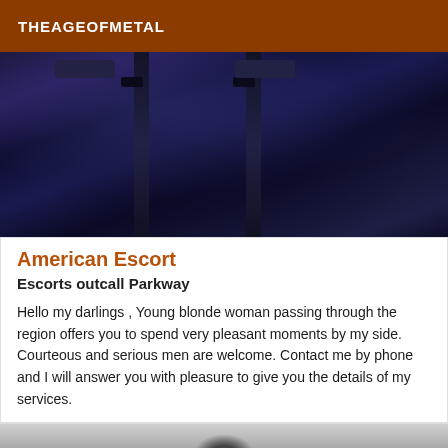THEAGEOFMETAL
[Figure (photo): Close-up photo showing blue lingerie/clothing with dark stockings]
American Escort
Escorts outcall Parkway
Hello my darlings , Young blonde woman passing through the region offers you to spend very pleasant moments by my side. Courteous and serious men are welcome. Contact me by phone and I will answer you with pleasure to give you the details of my services.
[Figure (photo): Partial photo visible at bottom of page]